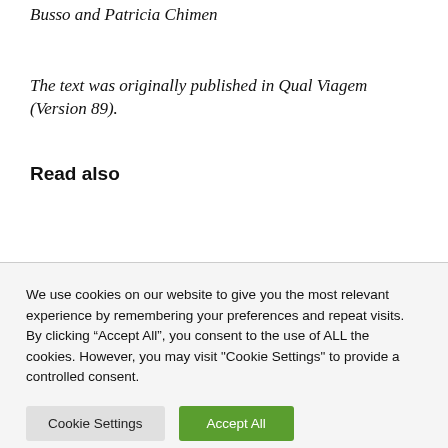Busso and Patricia Chimen
The text was originally published in Qual Viagem (Version 89).
Read also
We use cookies on our website to give you the most relevant experience by remembering your preferences and repeat visits. By clicking “Accept All”, you consent to the use of ALL the cookies. However, you may visit "Cookie Settings" to provide a controlled consent.